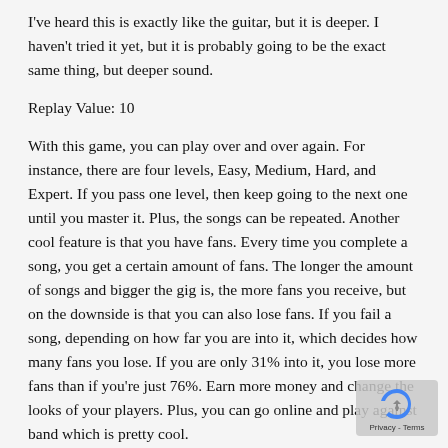I've heard this is exactly like the guitar, but it is deeper. I haven't tried it yet, but it is probably going to be the exact same thing, but deeper sound.
Replay Value: 10
With this game, you can play over and over again. For instance, there are four levels, Easy, Medium, Hard, and Expert. If you pass one level, then keep going to the next one until you master it. Plus, the songs can be repeated. Another cool feature is that you have fans. Every time you complete a song, you get a certain amount of fans. The longer the amount of songs and bigger the gig is, the more fans you receive, but on the downside is that you can also lose fans. If you fail a song, depending on how far you are into it, which decides how many fans you lose. If you are only 31% into it, you lose more fans than if you're just 76%. Earn more money and change the looks of your players. Plus, you can go online and play against band which is pretty cool.
Overall: 8.8